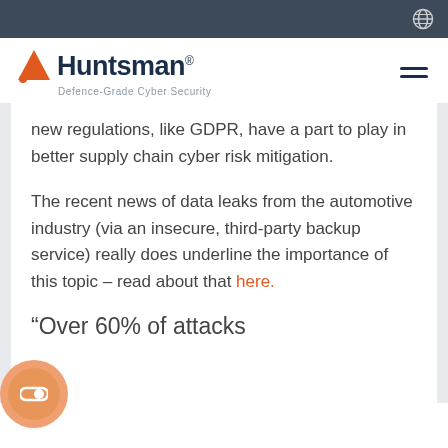Huntsman — Defence-Grade Cyber Security
new regulations, like GDPR, have a part to play in better supply chain cyber risk mitigation.
The recent news of data leaks from the automotive industry (via an insecure, third-party backup service) really does underline the importance of this topic – read about that here.
“Over 60% of attacks